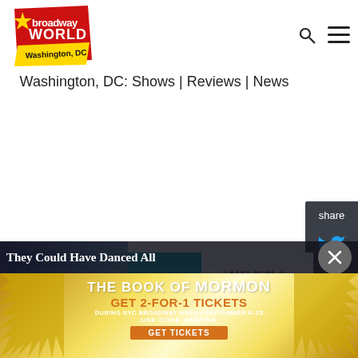[Figure (logo): BroadwayWorld Washington DC logo — red diagonal banner with yellow star, white text 'broadway WORLD', 'Washington, DC']
Search and Menu icons (navigation header)
Washington, DC: Shows | Reviews | News
[Figure (infographic): Share sidebar with Twitter and Facebook icons on dark gray background]
[Figure (infographic): HealthCare.gov advertisement banner: 'Get coverage when life changes.' LEARN MORE HealthCare.gov]
[Figure (infographic): Photo strip at bottom — partially visible dark photo]
They Could Have Danced All
[Figure (infographic): The Book of Mormon advertisement: GET 2-FOR-1 TICKETS DURING NYC BROADWAY WEEK • SEPTEMBER 6-25 USE CODE BWAYWK GET TICKETS]